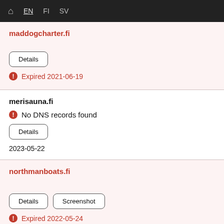🏠 EN FI SV
maddogcharter.fi
Details
Expired 2021-06-19
merisauna.fi
No DNS records found
Details
2023-05-22
northmanboats.fi
Details
Screenshot
Expired 2022-05-24